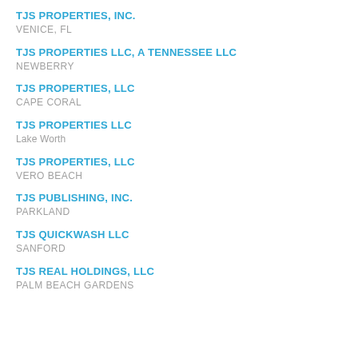TJS PROPERTIES, INC.
VENICE, FL
TJS PROPERTIES LLC, A TENNESSEE LLC
NEWBERRY
TJS PROPERTIES, LLC
CAPE CORAL
TJS PROPERTIES LLC
Lake Worth
TJS PROPERTIES, LLC
VERO BEACH
TJS PUBLISHING, INC.
PARKLAND
TJS QUICKWASH LLC
SANFORD
TJS REAL HOLDINGS, LLC
PALM BEACH GARDENS